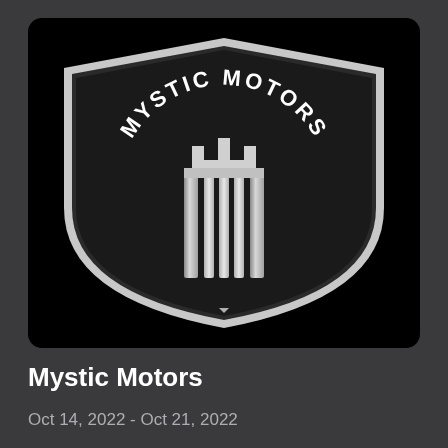[Figure (logo): Mystic Motors shield logo: dark shield shape with silver/white border, 'MYSTIC MOTORS' text arched at top in white, stylized MM monogram emblem in center consisting of vertical bars forming letters M and M with castle-like battlements on top]
Mystic Motors
Oct 14, 2022 - Oct 21, 2022